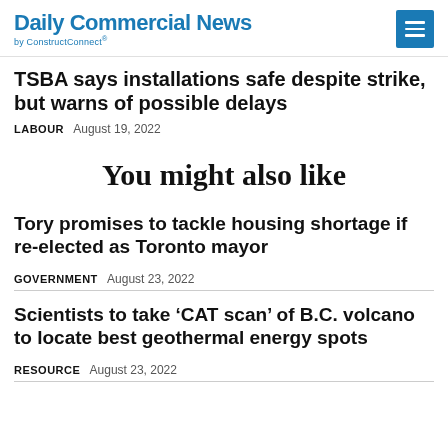Daily Commercial News by ConstructConnect
TSBA says installations safe despite strike, but warns of possible delays
LABOUR   August 19, 2022
You might also like
Tory promises to tackle housing shortage if re-elected as Toronto mayor
GOVERNMENT   August 23, 2022
Scientists to take ‘CAT scan’ of B.C. volcano to locate best geothermal energy spots
RESOURCE   August 23, 2022